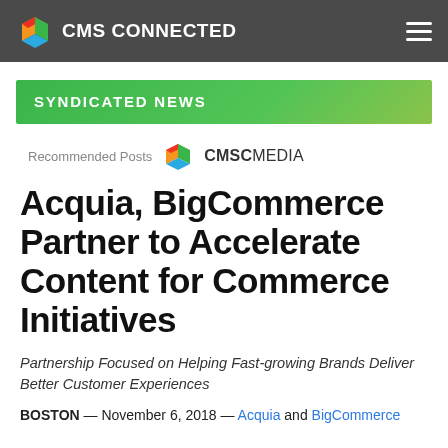CMS CONNECTED
SYNDICATED NEWS
Recommended Posts  CMSCMEDIA
Acquia, BigCommerce Partner to Accelerate Content for Commerce Initiatives
Partnership Focused on Helping Fast-growing Brands Deliver Better Customer Experiences
BOSTON — November 6, 2018 — Acquia and BigCommerce